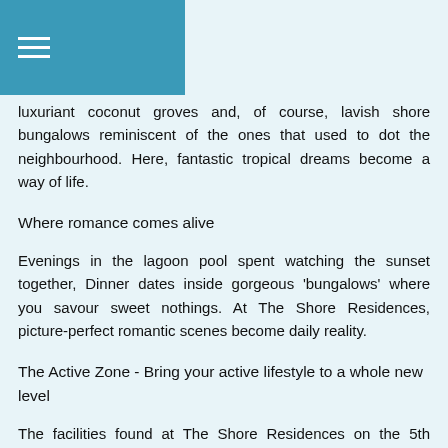≡ (hamburger menu icon)
luxuriant coconut groves and, of course, lavish shore bungalows reminiscent of the ones that used to dot the neighbourhood. Here, fantastic tropical dreams become a way of life.
Where romance comes alive
Evenings in the lagoon pool spent watching the sunset together, Dinner dates inside gorgeous 'bungalows' where you savour sweet nothings. At The Shore Residences, picture-perfect romantic scenes become daily reality.
The Active Zone - Bring your active lifestyle to a whole new level
The facilities found at The Shore Residences on the 5th storey are ideal for sculpting a perfect you. Swim towards a toned body in the 50m lap pool. Get into enviable shape at the gymnasium. And practise your serving and smashing at two tennis courts. When you are done, proceed to a cool shower and refresh yourself in the steam room.